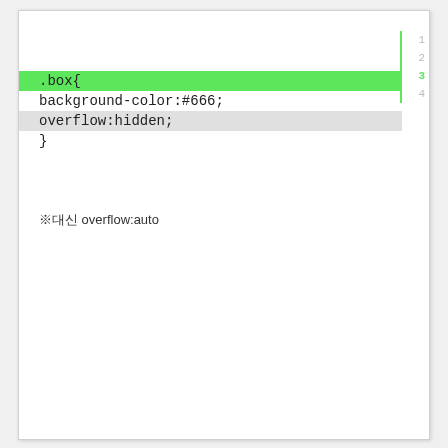[Figure (screenshot): Code editor screenshot showing CSS code block with line numbers 1-4 on the right gutter. Line 3 (overflow:hidden;) is highlighted with a green bar. The code reads: .box{ background-color:#666; overflow:hidden; }]
※대신 overflow:auto